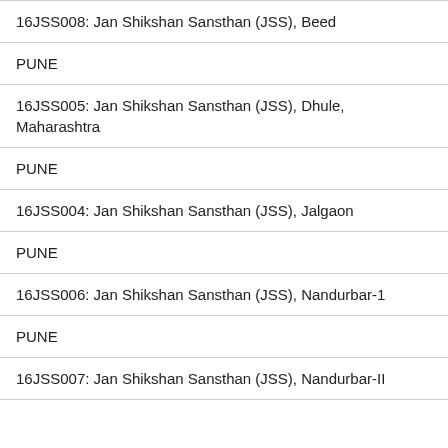| 16JSS008: Jan Shikshan Sansthan (JSS), Beed |
| PUNE |
| 16JSS005: Jan Shikshan Sansthan (JSS), Dhule, Maharashtra |
| PUNE |
| 16JSS004: Jan Shikshan Sansthan (JSS), Jalgaon |
| PUNE |
| 16JSS006: Jan Shikshan Sansthan (JSS), Nandurbar-1 |
| PUNE |
| 16JSS007: Jan Shikshan Sansthan (JSS), Nandurbar-II |